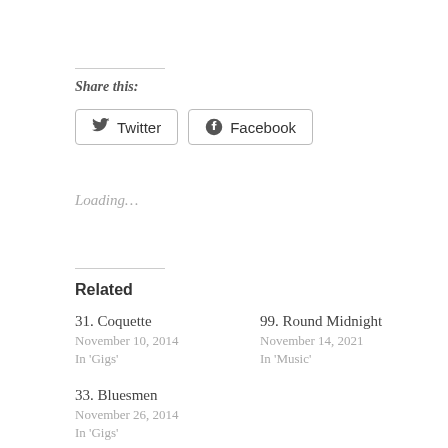Share this:
Twitter Facebook
Loading...
Related
31. Coquette
November 10, 2014
In 'Gigs'
99. Round Midnight
November 14, 2021
In 'Music'
33. Bluesmen
November 26, 2014
In 'Gigs'